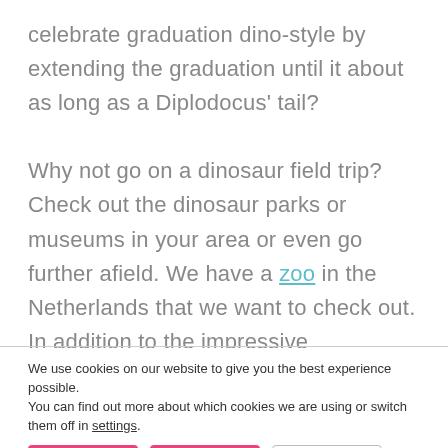celebrate graduation dino-style by extending the graduation until it about as long as a Diplodocus' tail?
Why not go on a dinosaur field trip? Check out the dinosaur parks or museums in your area or even go further afield. We have a zoo in the Netherlands that we want to check out. In addition to the impressive
We use cookies on our website to give you the best experience possible.
You can find out more about which cookies we are using or switch them off in settings.